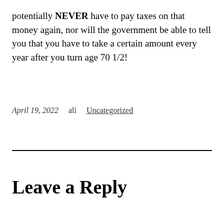potentially NEVER have to pay taxes on that money again, nor will the government be able to tell you that you have to take a certain amount every year after you turn age 70 1/2!
April 19, 2022   ali   Uncategorized
Leave a Reply